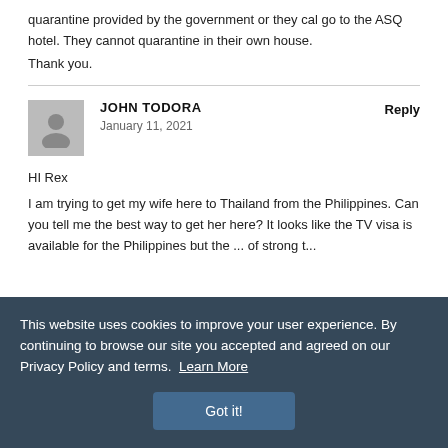quarantine provided by the government or they cal go to the ASQ hotel. They cannot quarantine in their own house.
Thank you.
JOHN TODORA
January 11, 2021
Reply
HI Rex
I am trying to get my wife here to Thailand from the Philippines. Can you tell me the best way to get her here? It looks like the TVisa is available for the Philippines but the ... of strong t...
This website uses cookies to improve your user experience. By continuing to browse our site you accepted and agreed on our Privacy Policy and terms. Learn More
Got it!